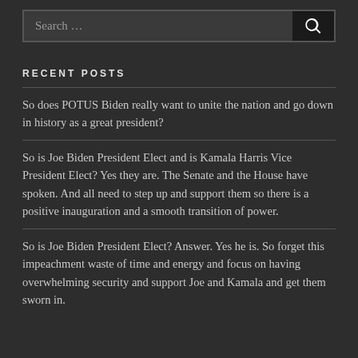Search …
RECENT POSTS
So does POTUS Biden really want to unite the nation and go down in history as a great president?
So is Joe Biden President Elect and is Kamala Harris Vice President Elect? Yes they are. The Senate and the House have spoken. And all need to step up and support them so there is a positive inauguration and a smooth transition of power.
So is Joe Biden President Elect? Answer. Yes he is. So forget this impeachment waste of time and energy and focus on having overwhelming security and support Joe and Kamala and get them sworn in.